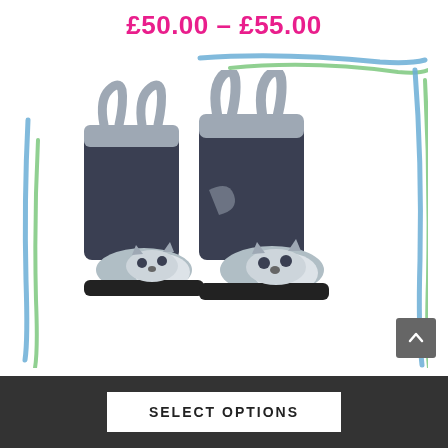£50.00 – £55.00
[Figure (photo): Pair of children's animal-themed (raccoon/fox face) rubber wellington boots in dark navy/grey with light grey trim and pull loops, photographed on white background]
SELECT OPTIONS